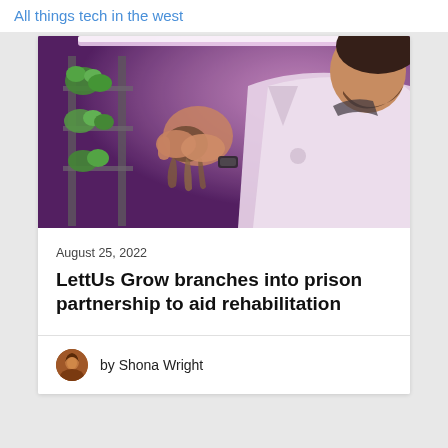All things tech in the west
[Figure (photo): A person in a white lab coat examining plant roots in an indoor vertical farming facility with purple/pink grow lights and green leafy plants on shelving units.]
August 25, 2022
LettUs Grow branches into prison partnership to aid rehabilitation
by Shona Wright